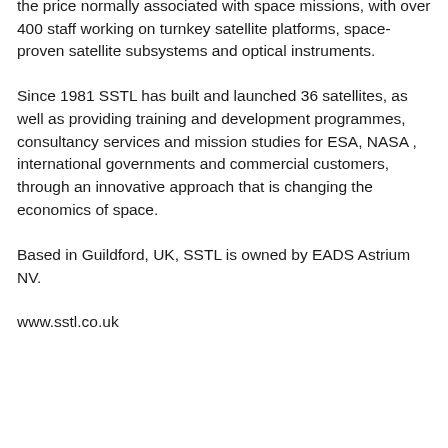performance satellites and ground systems for a fraction of the price normally associated with space missions, with over 400 staff working on turnkey satellite platforms, space-proven satellite subsystems and optical instruments.
Since 1981 SSTL has built and launched 36 satellites, as well as providing training and development programmes, consultancy services and mission studies for ESA, NASA , international governments and commercial customers, through an innovative approach that is changing the economics of space.
Based in Guildford, UK, SSTL is owned by EADS Astrium NV.
www.sstl.co.uk